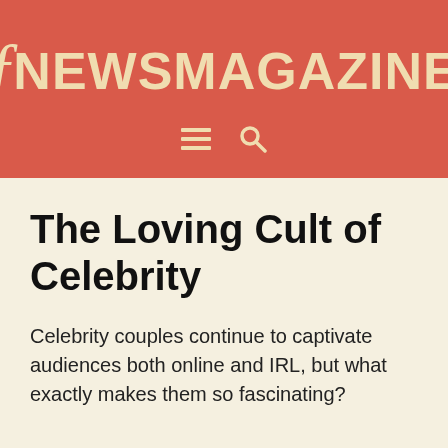f NEWSMAGAZINE
The Loving Cult of Celebrity
Celebrity couples continue to captivate audiences both online and IRL, but what exactly makes them so fascinating?